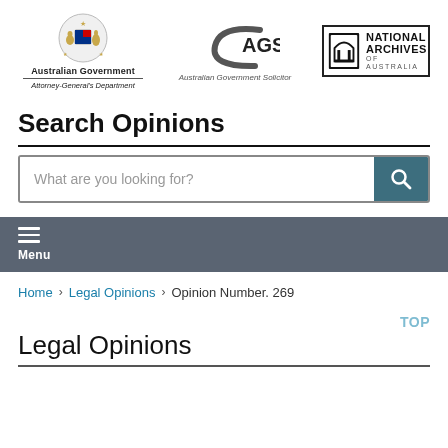[Figure (logo): Three logos: Australian Government Attorney-General's Department crest, AGS Australian Government Solicitor logo, National Archives of Australia logo]
Search Opinions
[Figure (screenshot): Search bar with placeholder text 'What are you looking for?' and a teal search button with magnifier icon]
≡ Menu
Home > Legal Opinions > Opinion Number. 269
Legal Opinions
TOP